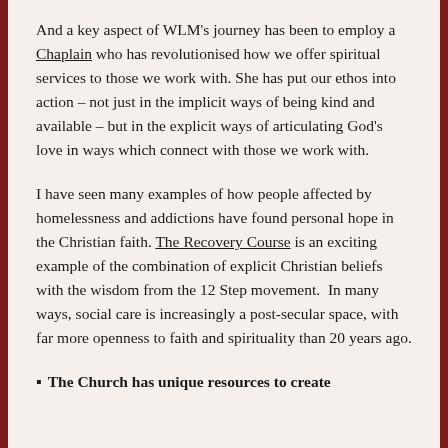And a key aspect of WLM's journey has been to employ a Chaplain who has revolutionised how we offer spiritual services to those we work with. She has put our ethos into action – not just in the implicit ways of being kind and available – but in the explicit ways of articulating God's love in ways which connect with those we work with.
I have seen many examples of how people affected by homelessness and addictions have found personal hope in the Christian faith. The Recovery Course is an exciting example of the combination of explicit Christian beliefs with the wisdom from the 12 Step movement. In many ways, social care is increasingly a post-secular space, with far more openness to faith and spirituality than 20 years ago.
The Church has unique resources to create